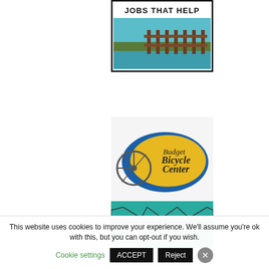[Figure (logo): Jobs That Help logo - rectangular border with text 'JOBS THAT HELP' and a landscape image with fence and water]
[Figure (logo): Budget Bicycle Center logo - oval yellow and blue shape with bicycle wheel graphic]
[Figure (logo): Katy's American Indian Arts logo - teal background with stylized sun/figure and text]
[Figure (logo): Organic web development logo - red and teal swoosh with text 'organic web development']
This website uses cookies to improve your experience. We'll assume you're ok with this, but you can opt-out if you wish.
Cookie settings  ACCEPT  Reject